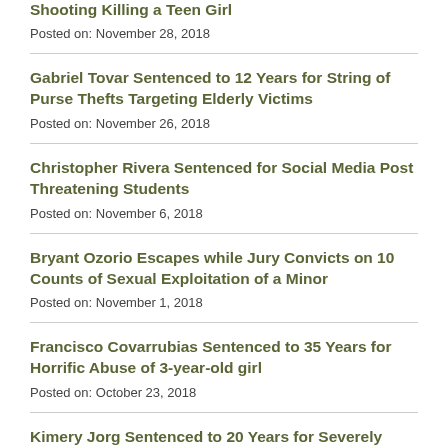Shooting Killing a Teen Girl
Posted on: November 28, 2018
Gabriel Tovar Sentenced to 12 Years for String of Purse Thefts Targeting Elderly Victims
Posted on: November 26, 2018
Christopher Rivera Sentenced for Social Media Post Threatening Students
Posted on: November 6, 2018
Bryant Ozorio Escapes while Jury Convicts on 10 Counts of Sexual Exploitation of a Minor
Posted on: November 1, 2018
Francisco Covarrubias Sentenced to 35 Years for Horrific Abuse of 3-year-old girl
Posted on: October 23, 2018
Kimery Jorg Sentenced to 20 Years for Severely Abusing Daughters